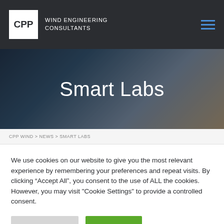[Figure (logo): CPP Wind Engineering Consultants logo with white box containing 'CPP' text and company name in white text on dark background, with blue hamburger menu icon on right]
[Figure (photo): Hero image of tall building photographed from below against cloudy sky, with 'Smart Labs' text overlay in white]
Smart Labs
CPP WIND > NEWS > SMART LABS
We use cookies on our website to give you the most relevant experience by remembering your preferences and repeat visits. By clicking “Accept All”, you consent to the use of ALL the cookies. However, you may visit "Cookie Settings" to provide a controlled consent.
Cookie Settings | Accept All